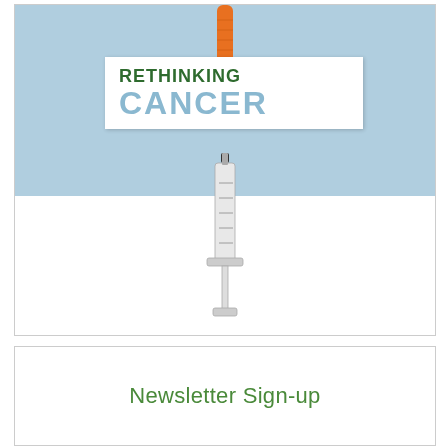[Figure (illustration): Book cover for 'Rethinking Cancer' showing a carrot from above and a syringe below, with a white sign bearing the title against a blue background]
Newsletter Sign-up